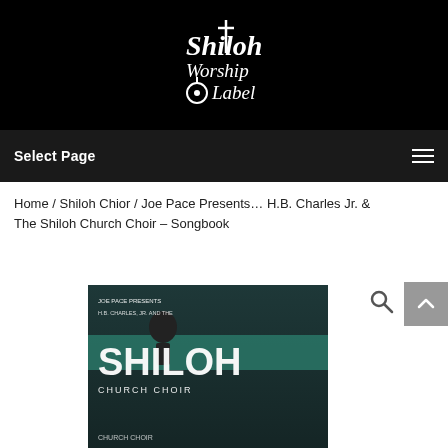[Figure (logo): Shiloh Worship Label logo in white text on black background]
Select Page
Home / Shiloh Chior / Joe Pace Presents... H.B. Charles Jr. & The Shiloh Church Choir – Songbook
[Figure (photo): Book/songbook cover showing H.B. Charles Jr. and The Shiloh Church Choir, with title text 'Joe Pace Presents H.B. Charles Jr. and the SHILOH Church Choir']